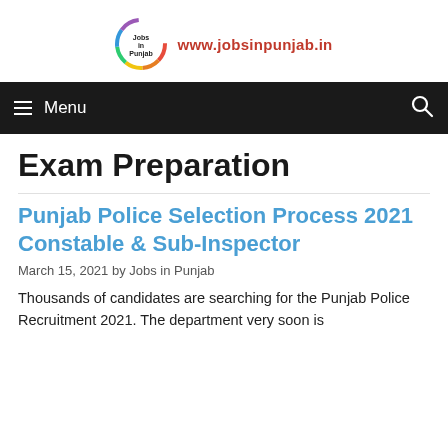[Figure (logo): Jobs in Punjab circular rainbow logo with text 'Jobs in Punjab' inside and website URL www.jobsinpunjab.in beside it]
≡ Menu
Exam Preparation
Punjab Police Selection Process 2021 Constable & Sub-Inspector
March 15, 2021 by Jobs in Punjab
Thousands of candidates are searching for the Punjab Police Recruitment 2021. The department very soon is